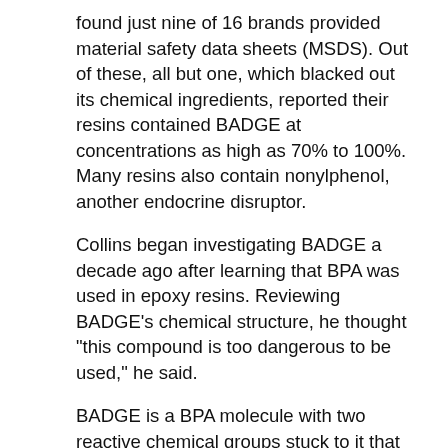found just nine of 16 brands provided material safety data sheets (MSDS). Out of these, all but one, which blacked out its chemical ingredients, reported their resins contained BADGE at concentrations as high as 70% to 100%. Many resins also contain nonylphenol, another endocrine disruptor.
Collins began investigating BADGE a decade ago after learning that BPA was used in epoxy resins. Reviewing BADGE's chemical structure, he thought "this compound is too dangerous to be used," he said.
BADGE is a BPA molecule with two reactive chemical groups stuck to it that link to other bisphenol molecules to yield a viscous epoxy polymer. Mixing it with an acid, or heating it, in the presence of a solvent, sets a reaction in motion that ends in a chain of alternating BADGE and bisphenol molecules (BPA, BPS, or BPF) that form a tough plastic...